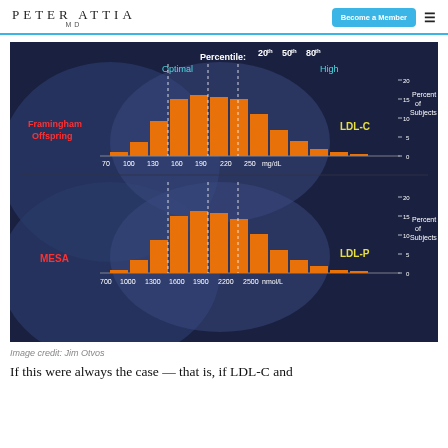PETER ATTIA MD | Become a Member
[Figure (histogram): Two histograms stacked vertically. Top: Framingham Offspring LDL-C distribution (mg/dL), x-axis 70-250, y-axis 0-20 Percent of Subjects. Bottom: MESA LDL-P distribution (nmol/L), x-axis 700-2500, y-axis 0-20 Percent of Subjects. Both show percentile markers at 20th, 50th, 80th, with Optimal and High labels. Orange bars on dark blue background.]
Image credit: Jim Otvos
If this were always the case — that is, if LDL-C and